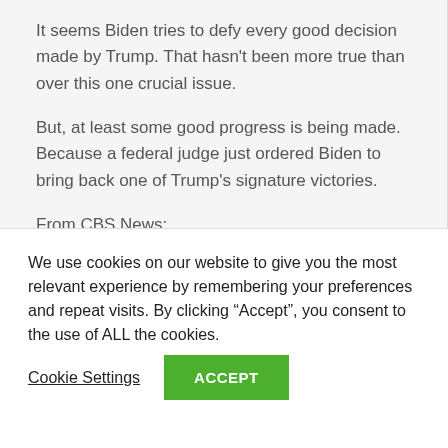It seems Biden tries to defy every good decision made by Trump. That hasn't been more true than over this one crucial issue.
But, at least some good progress is being made. Because a federal judge just ordered Biden to bring back one of Trump's signature victories.
From CBS News:
We use cookies on our website to give you the most relevant experience by remembering your preferences and repeat visits. By clicking “Accept”, you consent to the use of ALL the cookies.
Cookie Settings
ACCEPT